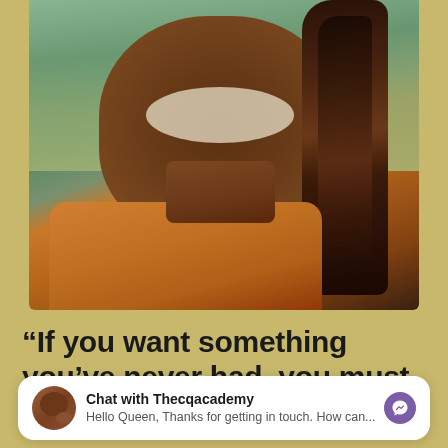[Figure (photo): Close-up photo of a smiling person with braided hair and an orange/tan leather jacket, against a blurred green background.]
“If you want something you’ve never had, you must
Chat with Thecqacademy
Hello Queen, Thanks for getting in touch. How can...